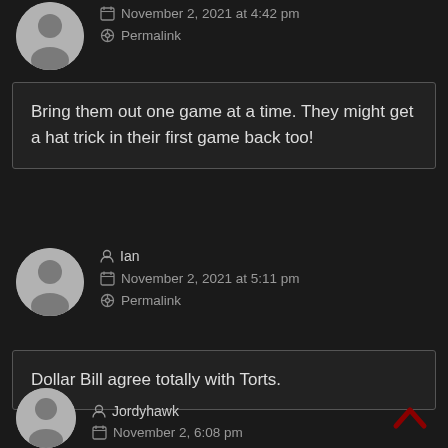November 2, 2021 at 4:42 pm
Permalink
Bring them out one game at a time. They might get a hat trick in their first game back too!
Ian
November 2, 2021 at 5:11 pm
Permalink
Dollar Bill agree totally with Torts.
Jordyhawk
November 2, 6:08 pm